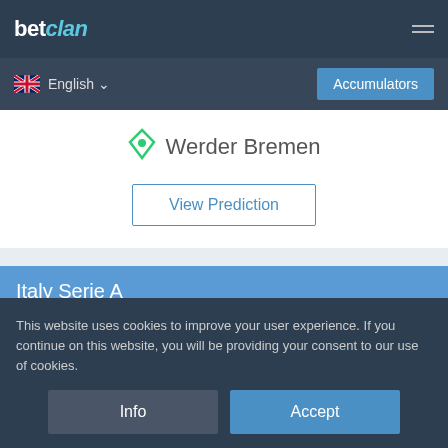betclan
English   Accumulators
Werder Bremen
View Prediction
Italy Serie A
Time: 19:45   Date: 2022-08-20
Inter Milan
vs
This website uses cookies to improve your user experience. If you continue on this website, you will be providing your consent to our use of cookies.
Info   Accept